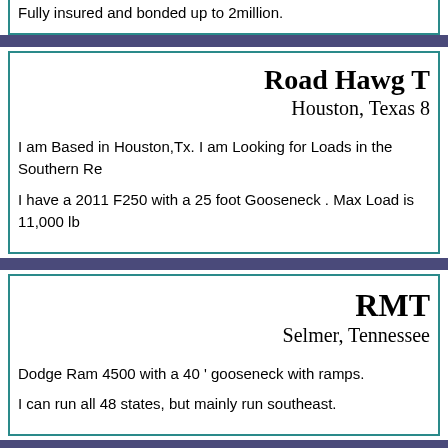Fully insured and bonded up to 2million.
Road Hawg T
Houston, Texas 8
I am Based in Houston,Tx. I am Looking for Loads in the Southern Re
I have a 2011 F250 with a 25 foot Gooseneck . Max Load is 11,000 lb
RMT
Selmer, Tennessee
Dodge Ram 4500 with a 40 ' gooseneck with ramps.
I can run all 48 states, but mainly run southeast.
Arrow Lo
Imperial, Missouri